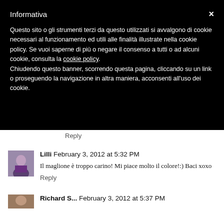Informativa
Questo sito o gli strumenti terzi da questo utilizzati si avvalgono di cookie necessari al funzionamento ed utili alle finalità illustrate nella cookie policy. Se vuoi saperne di più o negare il consenso a tutti o ad alcuni cookie, consulta la cookie policy.
Chiudendo questo banner, scorrendo questa pagina, cliccando su un link o proseguendo la navigazione in altra maniera, acconsenti all'uso dei cookie.
Reply
Lilli  February 3, 2012 at 5:32 PM
Il maglione è troppo carino! Mi piace molto il colore!:) Baci xoxo
Reply
Richard S...  February 3, 2012 at 5:37 PM